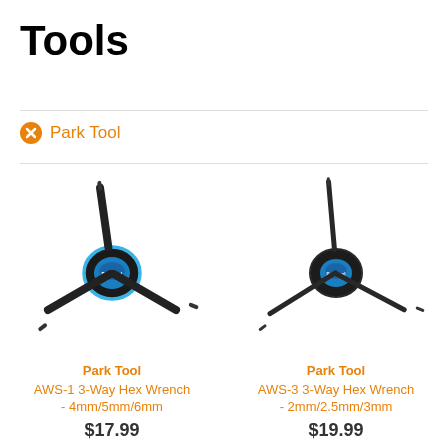Tools
Park Tool
[Figure (photo): Park Tool AWS-1 3-Way Hex Wrench with blue accent ring and Park Tool logo on center hub, three arms extending outward]
Park Tool
AWS-1 3-Way Hex Wrench - 4mm/5mm/6mm
$17.99
[Figure (photo): Park Tool AWS-3 3-Way Hex Wrench with dark finish and Park Tool logo on center hub, three arms extending outward with smaller hex tips]
Park Tool
AWS-3 3-Way Hex Wrench - 2mm/2.5mm/3mm
$19.99